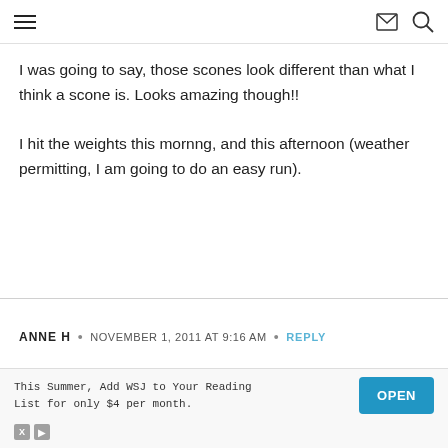≡  ✉  🔍
I was going to say, those scones look different than what I think a scone is. Looks amazing though!!
I hit the weights this mornng, and this afternoon (weather permitting, I am going to do an easy run).
ANNE H  •  NOVEMBER 1, 2011 AT 9:16 AM  •  REPLY
Scones are big at my house too. We generally have th
This Summer, Add WSJ to Your Reading List for only $4 per month.  OPEN